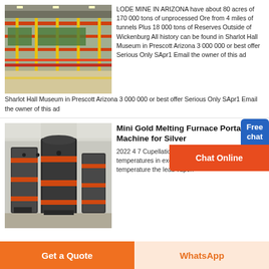[Figure (photo): Industrial mining/processing facility interior with machinery, conveyors, and colorful metal structures (orange, yellow, green).]
LODE MINE IN ARIZONA have about 80 acres of 170 000 tons of unprocessed Ore from 4 miles of tunnels Plus 18 000 tons of Reserves Outside of Wickenburg All history can be found in Sharlot Hall Museum in Prescott Arizona 3 000 000 or best offer Serious Only SApr1 Email the owner of this ad
[Figure (photo): Industrial facility interior with large dark cylindrical machines/furnaces on a factory floor.]
Mini Gold Melting Furnace Portable Machine for Silver
2022 4 7 Cupellation involves melting gold ore at temperatures in excess of 960 degree celsius at this temperature the lead vapori...